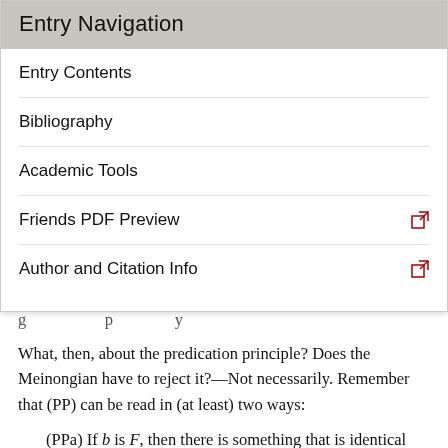Entry Navigation
Entry Contents
Bibliography
Academic Tools
Friends PDF Preview
Author and Citation Info
What, then, about the predication principle? Does the Meinongian have to reject it?—Not necessarily. Remember that (PP) can be read in (at least) two ways:
(PPa) If b is F, then there is something that is identical with b.
(PPb) If b is F, then b exists.
Within the Meinongian framework, these two readings are not equivalent. According to the Meinongian, certainly there is something that is identical with Pegasus, although